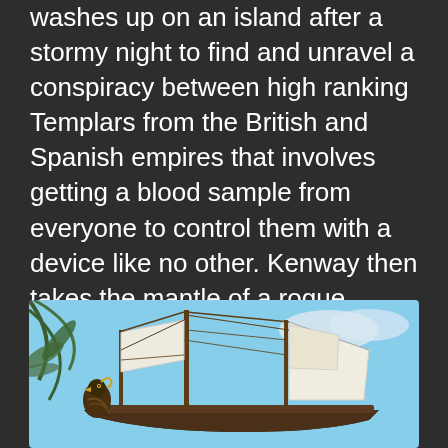washes up on an island after a stormy night to find and unravel a conspiracy between high ranking Templars from the British and Spanish empires that involves getting a blood sample from everyone to control them with a device like no other. Kenway then takes the mantle of a rogue Assassin he met and obtains his ship the Jackdaw to hopefully earn a profit or end the conspiracy. Later on in the game you meet and become friends with other pirates during that time including Blackbeard, James Kidd, Charles Vane and more.
[Figure (photo): A tall sailing ship with white sails and rigging, with a carved wooden figurehead (jackdaw/raven) visible on the bow. Blue sky in the background with some palm fronds on the left edge.]